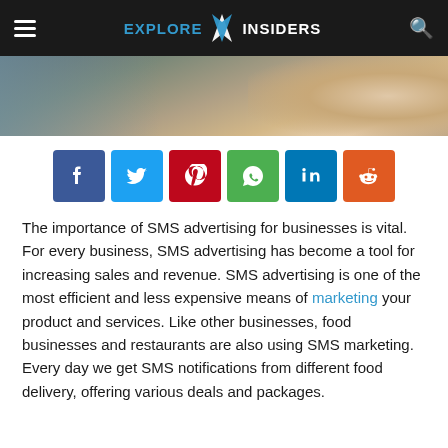EXPLORE X INSIDERS
[Figure (photo): Close-up blurred photo of a person holding a smartphone, warm tones]
[Figure (infographic): Six social media share buttons: Facebook (blue), Twitter (light blue), Pinterest (red), WhatsApp (green), LinkedIn (dark blue), Reddit (orange)]
The importance of SMS advertising for businesses is vital. For every business, SMS advertising has become a tool for increasing sales and revenue. SMS advertising is one of the most efficient and less expensive means of marketing your product and services. Like other businesses, food businesses and restaurants are also using SMS marketing. Every day we get SMS notifications from different food delivery, offering various deals and packages.